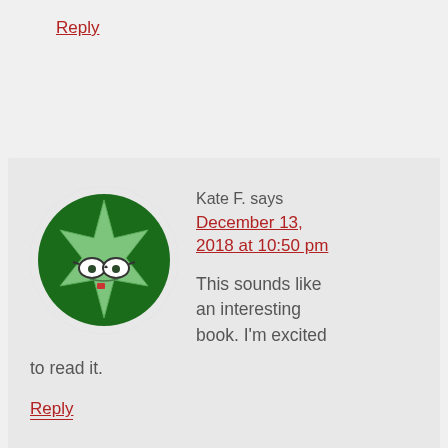Reply
[Figure (illustration): Round avatar with green star-shaped cartoon character wearing glasses on dark green background]
Kate F. says
December 13, 2018 at 10:50 pm
This sounds like an interesting book. I'm excited to read it.
Reply